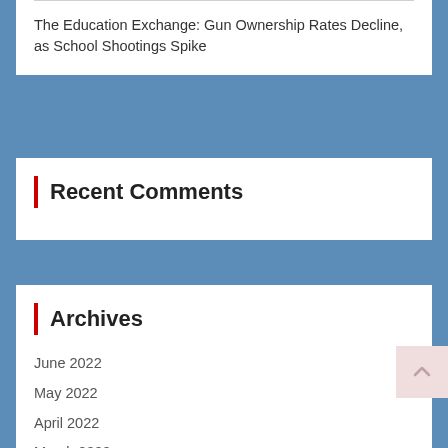The Education Exchange: Gun Ownership Rates Decline, as School Shootings Spike
Recent Comments
Archives
June 2022
May 2022
April 2022
March 2022
February 2022
January 2022
December 2021